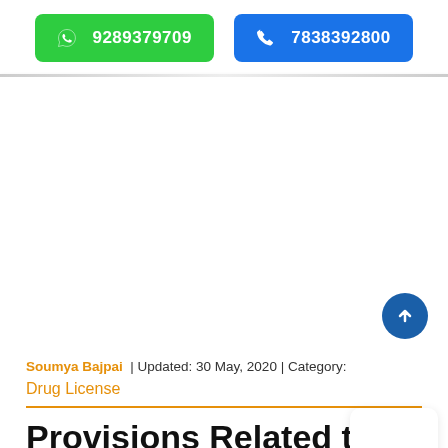☎ 9289379709  ✆ 7838392800
[Figure (other): Advertisement or blank area in the middle of the page]
Soumya Bajpai | Updated: 30 May, 2020 | Category: Drug License
Provisions Related to Ayurvedic, Siddha and